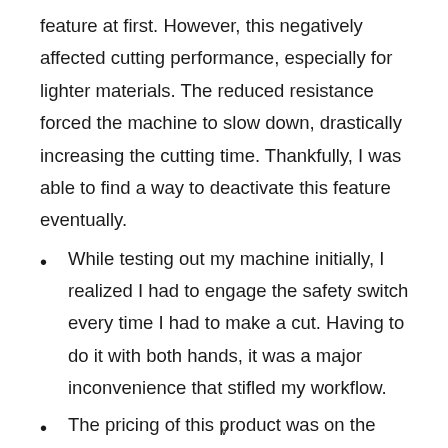feature at first. However, this negatively affected cutting performance, especially for lighter materials. The reduced resistance forced the machine to slow down, drastically increasing the cutting time. Thankfully, I was able to find a way to deactivate this feature eventually.
While testing out my machine initially, I realized I had to engage the safety switch every time I had to make a cut. Having to do it with both hands, it was a major inconvenience that stifled my workflow.
The pricing of this product was on the higher
v